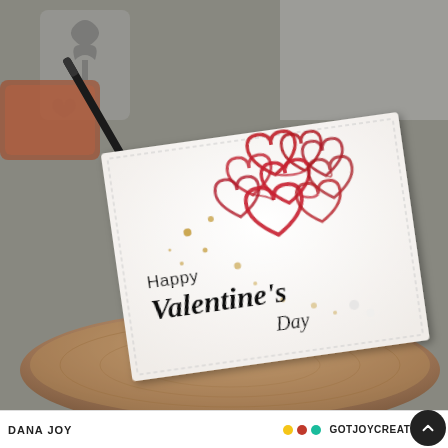[Figure (photo): A handmade Valentine's Day card with red glittery overlapping heart outlines clustered in the upper right, with gold ink splatters on white card stock reading 'Happy Valentine's Day' in mixed fonts. The card is propped on a wood slice surface with a black pen/brush alongside, and a grey metal tree die-cut in the background.]
DANA JOY   GOTJOYCREATIONS.